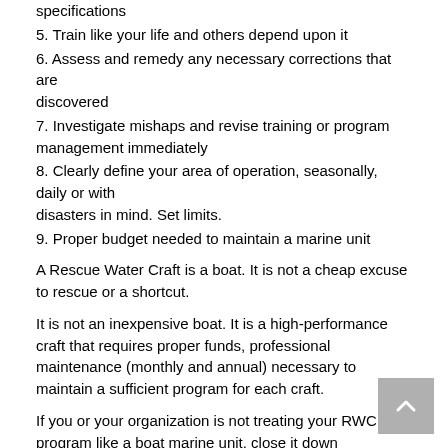4. Inspect and maintain the vessel according to the manufacturer specifications
5. Train like your life and others depend upon it
6. Assess and remedy any necessary corrections that are discovered
7. Investigate mishaps and revise training or program management immediately
8. Clearly define your area of operation, seasonally, daily or with disasters in mind. Set limits.
9. Proper budget needed to maintain a marine unit
A Rescue Water Craft is a boat. It is not a cheap excuse to rescue or a shortcut.
It is not an inexpensive boat. It is a high-performance craft that requires proper funds, professional maintenance (monthly and annual) necessary to maintain a sufficient program for each craft.
If you or your organization is not treating your RWC program like a boat marine unit, close it down immediately. Do not proceed! Get off the boat and restructure your maritime program.
That mountain is waiting for the storm to show you where your problems are and it may very well take life. At that point you